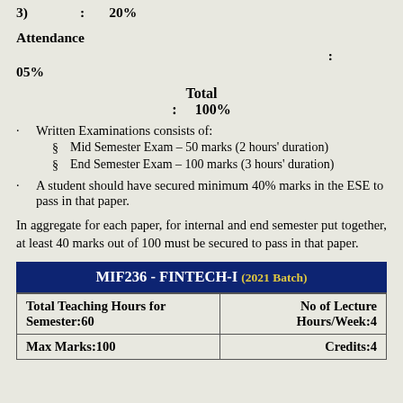Semester Internal Assessment (List 1-3) : 20%
Attendance : 05%
Total : 100%
Written Examinations consists of:
§ Mid Semester Exam – 50 marks (2 hours' duration)
§ End Semester Exam – 100 marks (3 hours' duration)
A student should have secured minimum 40% marks in the ESE to pass in that paper.
In aggregate for each paper, for internal and end semester put together, at least 40 marks out of 100 must be secured to pass in that paper.
MIF236 - FINTECH-I (2021 Batch)
| Total Teaching Hours for Semester:60 | No of Lecture Hours/Week:4 |
| --- | --- |
| Max Marks:100 | Credits:4 |